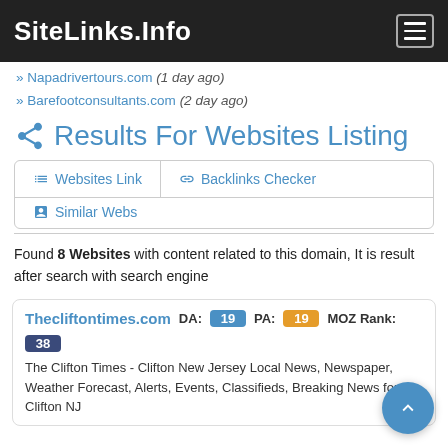SiteLinks.Info
» Napadrivertours.com (1 day ago)
» Barefootconsultants.com (2 day ago)
Results For Websites Listing
Websites Link
Backlinks Checker
Similar Webs
Found 8 Websites with content related to this domain, It is result after search with search engine
Thecliftontimes.com  DA: 19  PA: 19  MOZ Rank: 38
The Clifton Times - Clifton New Jersey Local News, Newspaper, Weather Forecast, Alerts, Events, Classifieds, Breaking News for Clifton NJ